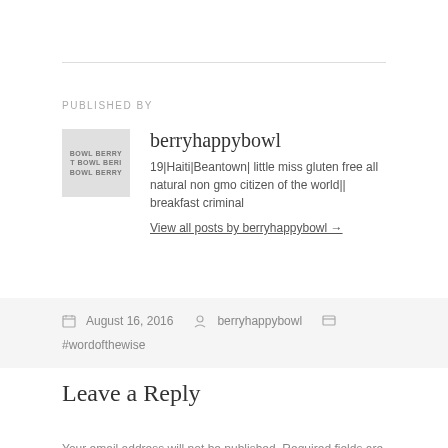PUBLISHED BY
[Figure (illustration): Small avatar/logo image for berryhappybowl blog]
berryhappybowl
19|Haiti|Beantown| little miss gluten free all natural non gmo citizen of the world|| breakfast criminal
View all posts by berryhappybowl →
August 16, 2016   berryhappybowl   #wordofthewise
Leave a Reply
Your email address will not be published. Required fields are marked *